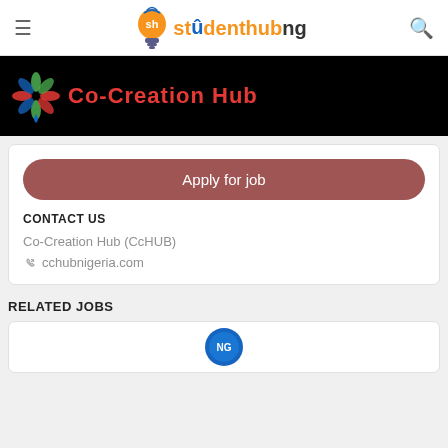studenthubng
[Figure (logo): Co-Creation Hub banner with colorful flower logo on black background]
Apply for job
CONTACT US
Co-Creation Hub (CcHUB)
cchubnigeria.com
RELATED JOBS
[Figure (logo): Circular blue logo at bottom of page]